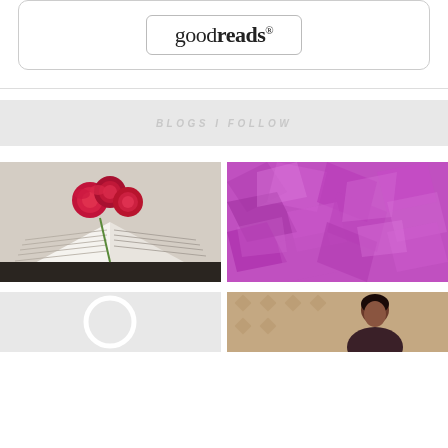[Figure (logo): Goodreads logo inside a rounded rectangle border, within a larger rounded rectangle container]
BLOGS I FOLLOW
[Figure (photo): Open book with red roses placed in the center pages]
[Figure (photo): Abstract purple/magenta crumpled or textured surface]
[Figure (photo): Light gray background with a white circle/ring logo]
[Figure (photo): Person with dark hair against a patterned background]